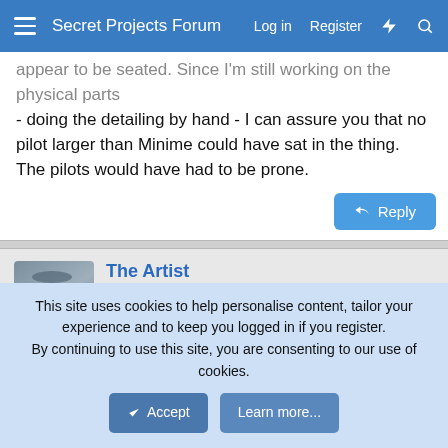Secret Projects Forum  Log in  Register
- doing the detailing by hand - I can assure you that no pilot larger than Minime could have sat in the thing. The pilots would have had to be prone.
Reply
The Artist
ACCESS: Top Secret  Senior Member
Dec 14, 2009  #22
Orionblamblam said:
About the only thing I can see "wrong" is that the fighter pilots appear
This site uses cookies to help personalise content, tailor your experience and to keep you logged in if you register.
By continuing to use this site, you are consenting to our use of cookies.
Accept  Learn more...